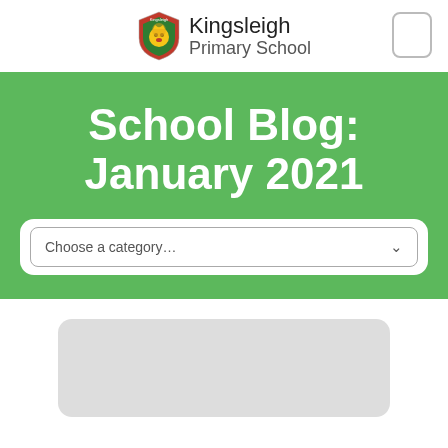Kingsleigh Primary School
School Blog: January 2021
Choose a category…
[Figure (other): Gray rounded rectangle placeholder card at bottom of page]